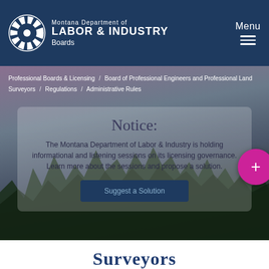Montana Department of LABOR & INDUSTRY - Boards
Professional Boards & Licensing / Board of Professional Engineers and Professional Land Surveyors / Regulations / Administrative Rules
Notice:
The Montana Department of Labor & Industry is holding informational and listening sessions on its licensing governance. Learn more about the sessions and propose a solution.
Suggest a Solution
Surveyors